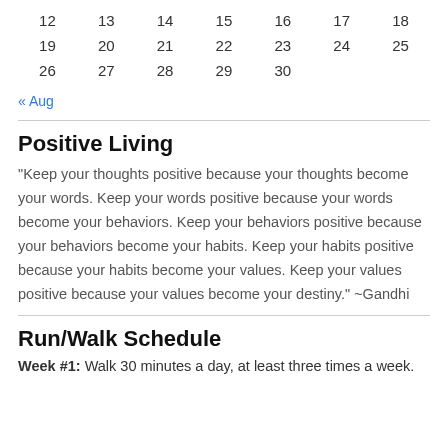| 12 | 13 | 14 | 15 | 16 | 17 | 18 |
| 19 | 20 | 21 | 22 | 23 | 24 | 25 |
| 26 | 27 | 28 | 29 | 30 |  |  |
« Aug
Positive Living
"Keep your thoughts positive because your thoughts become your words. Keep your words positive because your words become your behaviors. Keep your behaviors positive because your behaviors become your habits. Keep your habits positive because your habits become your values. Keep your values positive because your values become your destiny." ~Gandhi
Run/Walk Schedule
Week #1: Walk 30 minutes a day, at least three times a week.